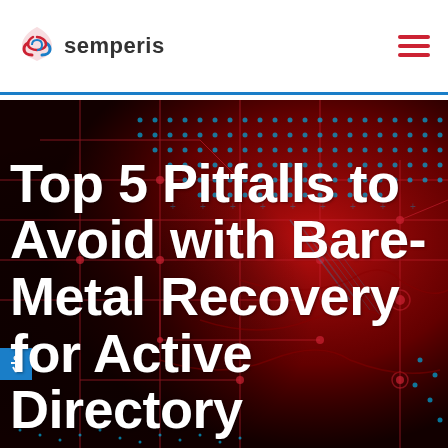semperis
[Figure (illustration): Dark red circuit board background with blue dot matrix pattern and red circuit lines forming a technology-themed hero image background]
Top 5 Pitfalls to Avoid with Bare-Metal Recovery for Active Directory